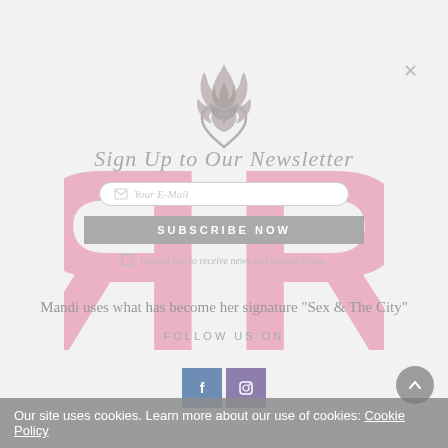[Figure (logo): Newsletter signup overlay with flame/heart icon, email input, subscribe button, and checkbox for news and offers]
[Figure (logo): Double mirrored R logo in pink, watermark style in background]
Mandi uses what has become her signature "Sex & The City"
FOLLOW US ON
[Figure (logo): Facebook and Instagram social media icons]
Our site uses cookies. Learn more about our use of cookies: Cookie Policy